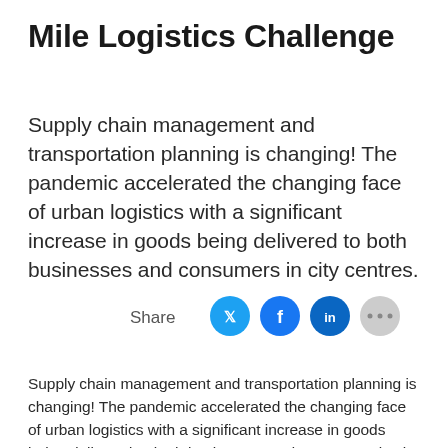Mile Logistics Challenge
Supply chain management and transportation planning is changing! The pandemic accelerated the changing face of urban logistics with a significant increase in goods being delivered to both businesses and consumers in city centres.
[Figure (infographic): Share buttons row with Twitter, Facebook, LinkedIn, and more options social media icons]
Supply chain management and transportation planning is changing! The pandemic accelerated the changing face of urban logistics with a significant increase in goods being delivered to both businesses and consumers in city centres.